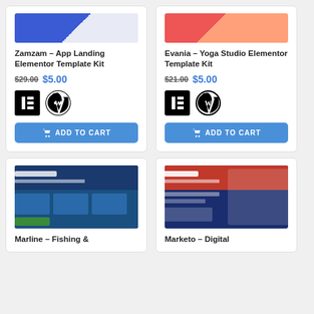[Figure (screenshot): Zamzam App Landing Elementor Template Kit product card with price and add to cart button]
[Figure (screenshot): Evania Yoga Studio Elementor Template Kit product card with price and add to cart button]
[Figure (screenshot): Marline Fishing theme preview screenshot]
[Figure (screenshot): Marketo Digital Marketing theme preview screenshot]